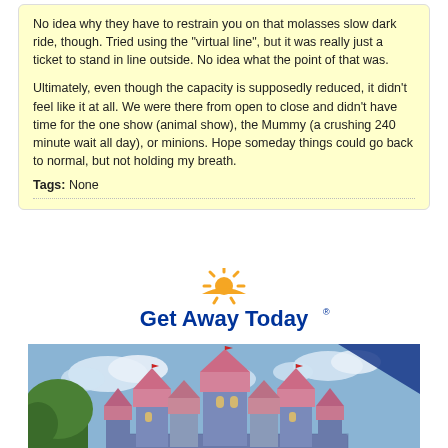No idea why they have to restrain you on that molasses slow dark ride, though. Tried using the "virtual line", but it was really just a ticket to stand in line outside. No idea what the point of that was.
Ultimately, even though the capacity is supposedly reduced, it didn't feel like it at all. We were there from open to close and didn't have time for the one show (animal show), the Mummy (a crushing 240 minute wait all day), or minions. Hope someday things could go back to normal, but not holding my breath.
Tags: None
[Figure (logo): Get Away Today logo with sun rays above an orange sunrise arc, with bold blue text reading 'Get Away Today']
[Figure (photo): Photo of Disneyland Sleeping Beauty Castle with blue and pink towers, flags, and blue sky with clouds, green trees on left]